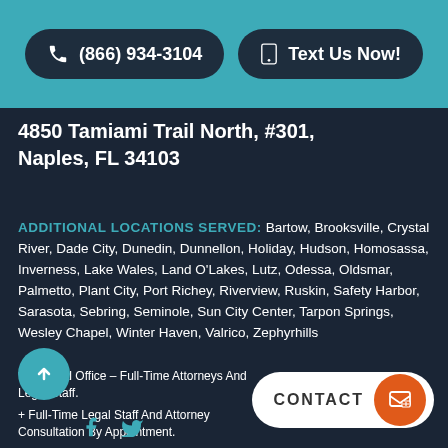[Figure (other): Phone call button and Text Us Now button on teal background bar]
4850 Tamiami Trail North, #301, Naples, FL 34103
ADDITIONAL LOCATIONS SERVED: Bartow, Brooksville, Crystal River, Dade City, Dunedin, Dunnellon, Holiday, Hudson, Homosassa, Inverness, Lake Wales, Land O'Lakes, Lutz, Odessa, Oldsmar, Palmetto, Plant City, Port Richey, Riverview, Ruskin, Safety Harbor, Sarasota, Sebring, Seminole, Sun City Center, Tarpon Springs, Wesley Chapel, Winter Haven, Valrico, Zephyrhills
* Principal Office – Full-Time Attorneys And Legal Staff.
+ Full-Time Legal Staff And Attorney Consultation By Appointment.
~ By Appointment.